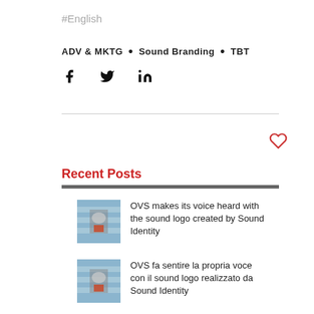#English
ADV & MKTG • Sound Branding • TBT
[Figure (infographic): Social share icons: Facebook, Twitter, LinkedIn]
[Figure (illustration): Heart (like) icon outline in red/pink]
Recent Posts
[Figure (photo): Thumbnail image for OVS sound logo post]
OVS makes its voice heard with the sound logo created by Sound Identity
[Figure (photo): Thumbnail image for OVS sound logo Italian post]
OVS fa sentire la propria voce con il sound logo realizzato da Sound Identity